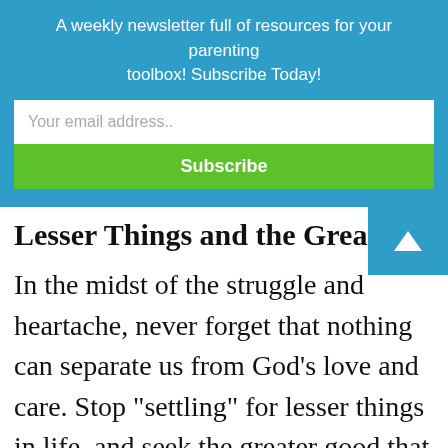A weekly newsletter full of resources for your parenting toolbox! Subscribe Today!
Your email address..
Subscribe
Lesser Things and the Greater Goo
In the midst of the struggle and heartache, never forget that nothing can separate us from God’s love and care. Stop “settling” for lesser things in life, and seek the greater good that God wants for us. If we could really